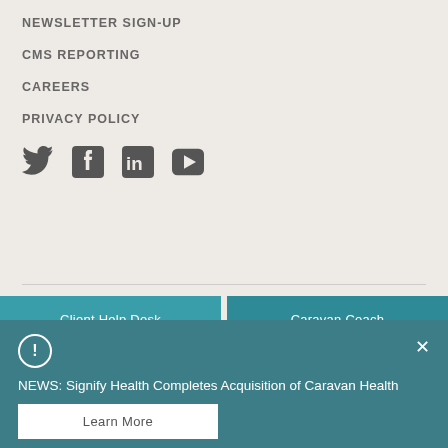NEWSLETTER SIGN-UP
CMS REPORTING
CAREERS
PRIVACY POLICY
[Figure (illustration): Social media icons: Twitter (bird), Facebook (f), LinkedIn (in), YouTube (play button)]
Client Help Desk
Caravan Coach
NEWS: Signify Health Completes Acquisition of Caravan Health
Learn More